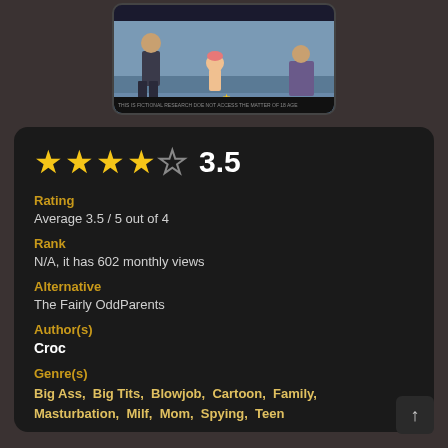[Figure (screenshot): Video thumbnail of an animated cartoon scene showing characters, displayed in a dark rounded tablet frame]
3.5
Rating
Average 3.5 / 5 out of 4
Rank
N/A, it has 602 monthly views
Alternative
The Fairly OddParents
Author(s)
Croc
Genre(s)
Big Ass, Big Tits, Blowjob, Cartoon, Family, Masturbation, Milf, Mom, Spying, Teen